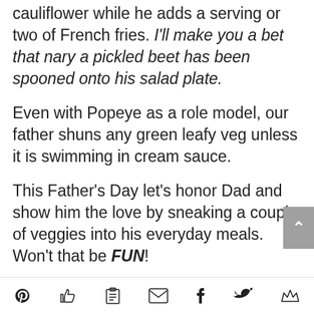cauliflower while he adds a serving or two of French fries. I'll make you a bet that nary a pickled beet has been spooned onto his salad plate.
Even with Popeye as a role model, our father shuns any green leafy veg unless it is swimming in cream sauce.
This Father's Day let's honor Dad and show him the love by sneaking a couple of veggies into his everyday meals. Won't that be FUN!
Here are some ideas...
[social share icons: Pinterest, Like, Clipboard, Email, Facebook, Twitter, Crown]